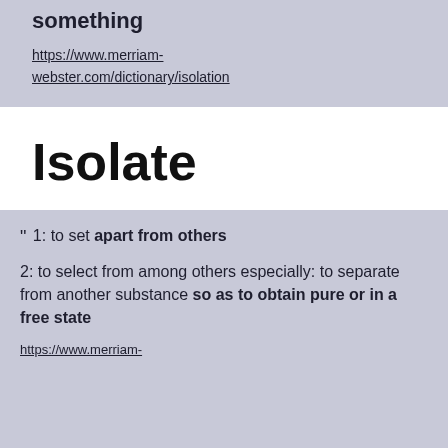something
https://www.merriam-webster.com/dictionary/isolation
Isolate
" 1: to set apart from others

2: to select from among others especially: to separate from another substance so as to obtain pure or in a free state
https://www.merriam-